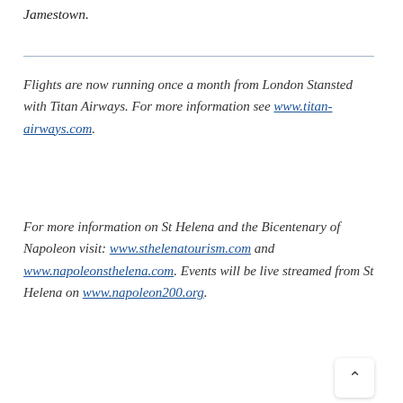Jamestown.
Flights are now running once a month from London Stansted with Titan Airways. For more information see www.titan-airways.com.
For more information on St Helena and the Bicentenary of Napoleon visit: www.sthelenatourism.com and www.napoleonsthelena.com. Events will be live streamed from St Helena on www.napoleon200.org.
[Figure (other): Gray box background area with a back-to-top button (chevron up arrow) in the bottom right corner.]